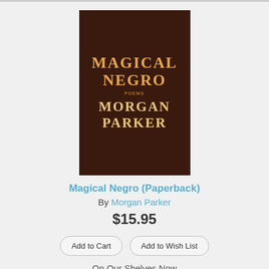[Figure (photo): Book cover of 'Magical Negro: Poems' by Morgan Parker. Dark brown/maroon background with orange decorative text.]
Magical Negro (Paperback)
By Morgan Parker
$15.95
Add to Cart
Add to Wish List
On Our Shelves Now
[Figure (photo): Book cover of 'Make Me Rain: Poems & Prose' by Nikki Giovanni. Light blue background with photo of smiling elderly woman.]